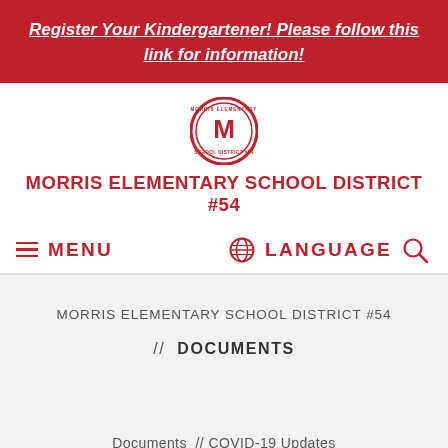Register Your Kindergartener! Please follow this link for information!
[Figure (logo): Morris Elementary School District #54 circular logo with red M in center]
MORRIS ELEMENTARY SCHOOL DISTRICT #54
MENU
LANGUAGE
MORRIS ELEMENTARY SCHOOL DISTRICT #54
// DOCUMENTS
Documents // COVID-19 Updates